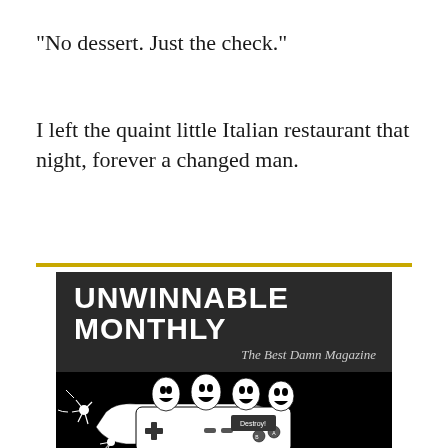“No dessert. Just the check.”
I left the quaint little Italian restaurant that night, forever a changed man.
[Figure (illustration): Unwinnable Monthly advertisement banner with bold white text on dark background reading 'UNWINNABLE MONTHLY' and subtitle 'The Best Damn Magazine', with an illustration of a person holding an NES controller with screaming faces above it and text 'Destroy!' on the controller.]